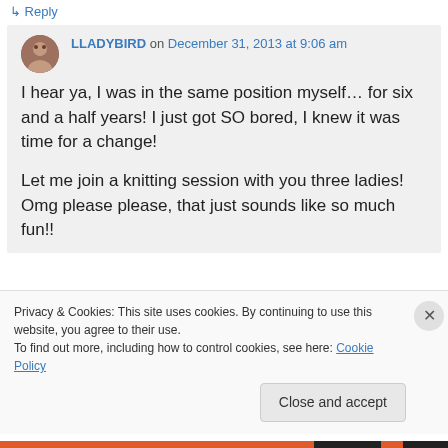↳ Reply
LLADYBIRD on December 31, 2013 at 9:06 am
I hear ya, I was in the same position myself… for six and a half years! I just got SO bored, I knew it was time for a change!

Let me join a knitting session with you three ladies! Omg please please, that just sounds like so much fun!!
Privacy & Cookies: This site uses cookies. By continuing to use this website, you agree to their use.
To find out more, including how to control cookies, see here: Cookie Policy